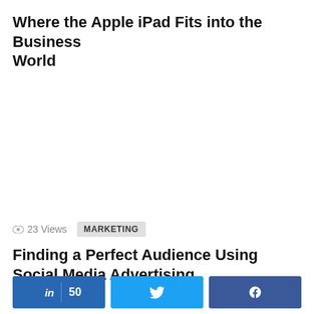Where the Apple iPad Fits into the Business World
23 Views   MARKETING
Finding a Perfect Audience Using Social Media Advertising
LinkedIn share 50 | Twitter share | Facebook share